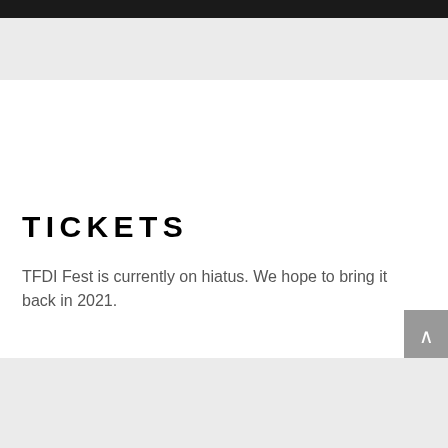TICKETS
TFDI Fest is currently on hiatus.  We hope to bring it back in 2021.
ACCOMMODATIONS